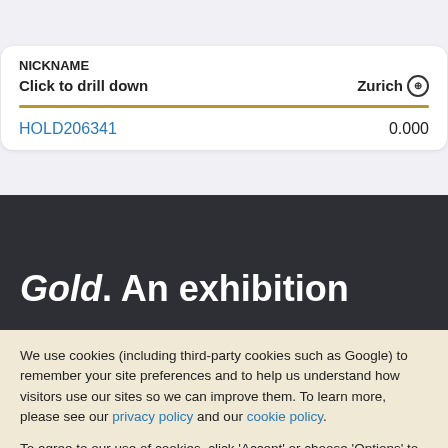| NICKNAME |  |
| --- | --- |
| Click to drill down | Zurich 🔍 |
| HOLD206341 | 0.000 |
Gold. An exhibition
We use cookies (including third-party cookies such as Google) to remember your site preferences and to help us understand how visitors use our sites so we can improve them. To learn more, please see our privacy policy and our cookie policy.
To agree to our use of cookies, click 'Accept' or choose 'Options' to set your preferences by cookie type.